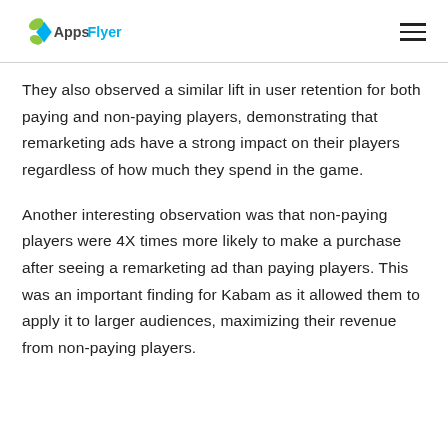AppsFlyer
They also observed a similar lift in user retention for both paying and non-paying players, demonstrating that remarketing ads have a strong impact on their players regardless of how much they spend in the game.
Another interesting observation was that non-paying players were 4X times more likely to make a purchase after seeing a remarketing ad than paying players. This was an important finding for Kabam as it allowed them to apply it to larger audiences, maximizing their revenue from non-paying players.